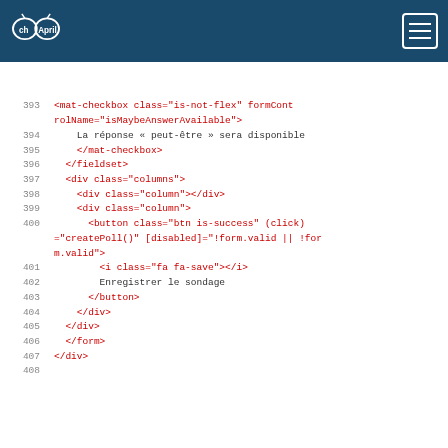chApril
[Figure (screenshot): Code editor screenshot showing HTML/Angular template code lines 393-408 with syntax highlighting. Tags in red, attributes/values in green, text content in dark.]